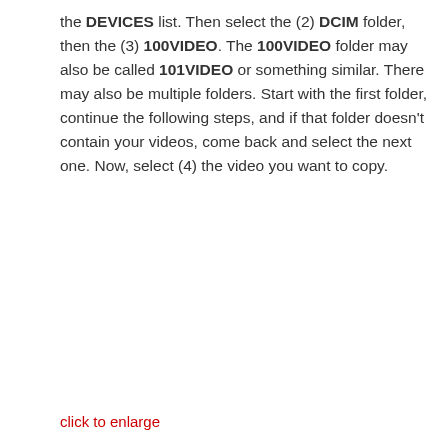the DEVICES list. Then select the (2) DCIM folder, then the (3) 100VIDEO. The 100VIDEO folder may also be called 101VIDEO or something similar. There may also be multiple folders. Start with the first folder, continue the following steps, and if that folder doesn't contain your videos, come back and select the next one. Now, select (4) the video you want to copy.
click to enlarge